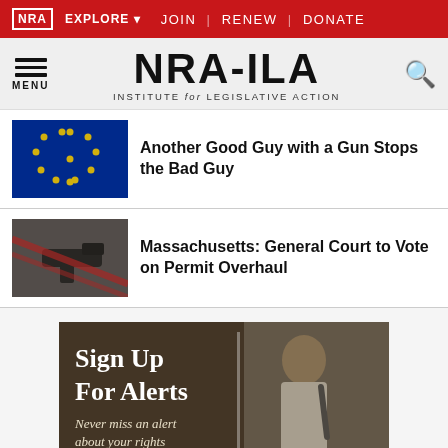NRA EXPLORE JOIN | RENEW | DONATE
NRA-ILA INSTITUTE for LEGISLATIVE ACTION
[Figure (screenshot): EU flag thumbnail image]
Another Good Guy with a Gun Stops the Bad Guy
[Figure (photo): Handgun with red straps thumbnail image]
Massachusetts: General Court to Vote on Permit Overhaul
[Figure (photo): Sign Up For Alerts banner showing young man with backpack, text: Sign Up For Alerts / Never miss an alert about your rights]